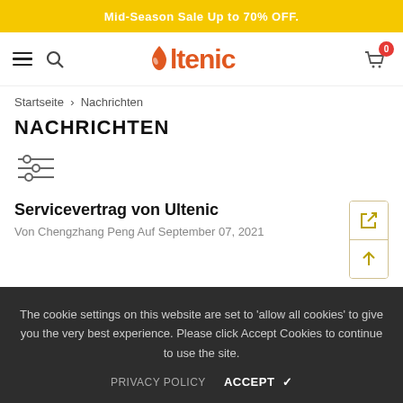Mid-Season Sale Up to 70% OFF.
[Figure (logo): Ultenic brand logo with orange water drop icon and orange text]
Startseite > Nachrichten
NACHRICHTEN
[Figure (other): Filter/sliders icon]
Servicevertrag von Ultenic
Von Chengzhang Peng Auf September 07, 2021
The cookie settings on this website are set to 'allow all cookies' to give you the very best experience. Please click Accept Cookies to continue to use the site.
PRIVACY POLICY   ACCEPT ✓